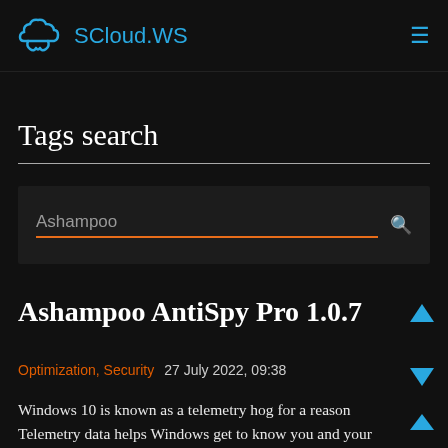SCloud.WS
Tags search
Ashampoo
Ashampoo AntiSpy Pro 1.0.7
Optimization, Security   27 July 2022, 09:38
Windows 10 is known as a telemetry hog for a reason. Telemetry data helps Windows get to know you and your